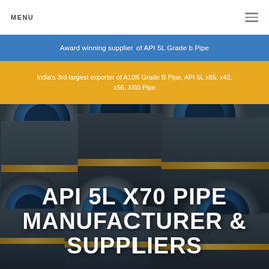MENU
Award winning supplier of API 5L Grade b Pipe
India's 3rd largest exporter of A106 Grade B Pipe, API 5L x65, x42, x56, X60 Pipe
[Figure (photo): Background photo of industrial steel pipes stacked together, showing circular cross-sections with blue end caps and metallic surfaces]
API 5L X70 PIPE MANUFACTURER & SUPPLIERS